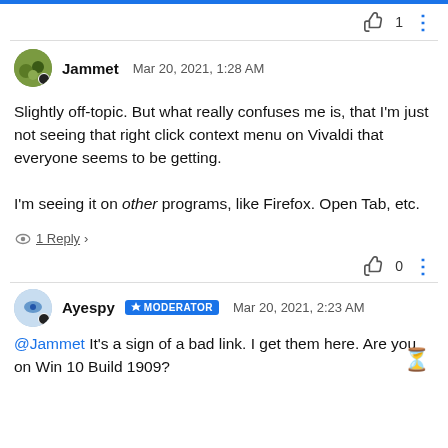👍 1  ⋮
Jammet   Mar 20, 2021, 1:28 AM
Slightly off-topic. But what really confuses me is, that I'm just not seeing that right click context menu on Vivaldi that everyone seems to be getting.

I'm seeing it on other programs, like Firefox. Open Tab, etc.
1 Reply >
👍 0  ⋮
Ayespy  MODERATOR  Mar 20, 2021, 2:23 AM
@Jammet It's a sign of a bad link. I get them here. Are you on Win 10 Build 1909?